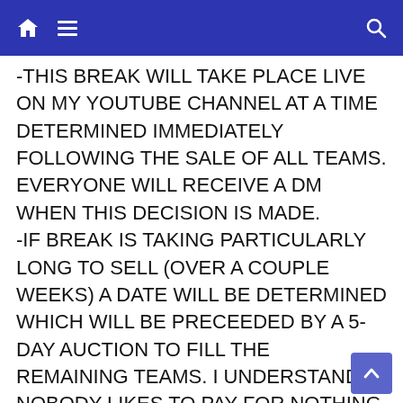[Navigation bar with home icon, hamburger menu, and search icon]
-THIS BREAK WILL TAKE PLACE LIVE ON MY YOUTUBE CHANNEL AT A TIME DETERMINED IMMEDIATELY FOLLOWING THE SALE OF ALL TEAMS. EVERYONE WILL RECEIVE A DM WHEN THIS DECISION IS MADE. -IF BREAK IS TAKING PARTICULARLY LONG TO SELL (OVER A COUPLE WEEKS) A DATE WILL BE DETERMINED WHICH WILL BE PRECEEDED BY A 5-DAY AUCTION TO FILL THE REMAINING TEAMS. I UNDERSTAND NOBODY LIKES TO PAY FOR NOTHING FOR AN EXTENDED PERIOD OF TIME, BUT